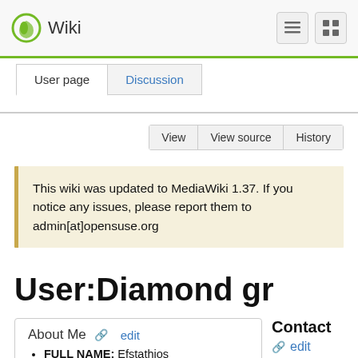Wiki
User page | Discussion
View | View source | History
This wiki was updated to MediaWiki 1.37. If you notice any issues, please report them to admin[at]opensuse.org
User:Diamond gr
About Me
FULL NAME: Efstathios
Contact